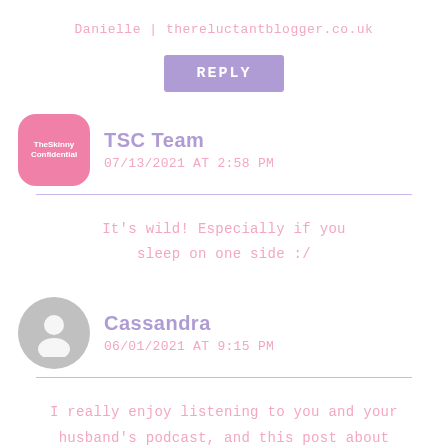Danielle | thereluctantblogger.co.uk
REPLY
TSC Team
07/13/2021 AT 2:58 PM
It’s wild! Especially if you sleep on one side :/
Cassandra
06/01/2021 AT 9:15 PM
I really enjoy listening to you and your husband’s podcast, and this post about